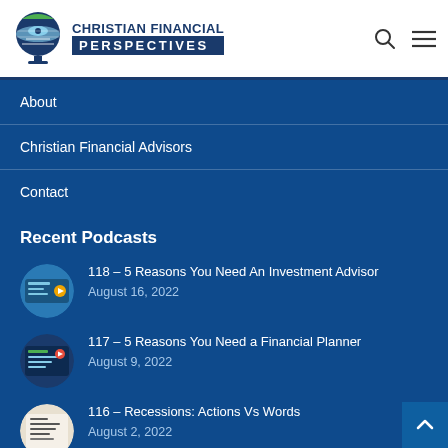CHRISTIAN FINANCIAL PERSPECTIVES
About
Christian Financial Advisors
Contact
Recent Podcasts
118 – 5 Reasons You Need An Investment Advisor
August 16, 2022
117 – 5 Reasons You Need a Financial Planner
August 9, 2022
116 – Recessions: Actions Vs Words
August 2, 2022